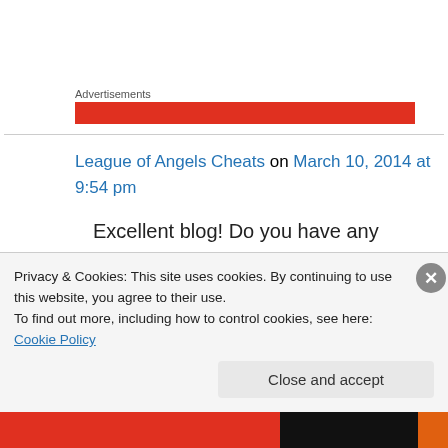Advertisements
[Figure (other): Red advertisement banner bar]
League of Angels Cheats on March 10, 2014 at 9:54 pm
Excellent blog! Do you have any hints for aspiring writers?
I'm planning to start my own site soon but I'm a
Privacy & Cookies: This site uses cookies. By continuing to use this website, you agree to their use.
To find out more, including how to control cookies, see here: Cookie Policy
Close and accept